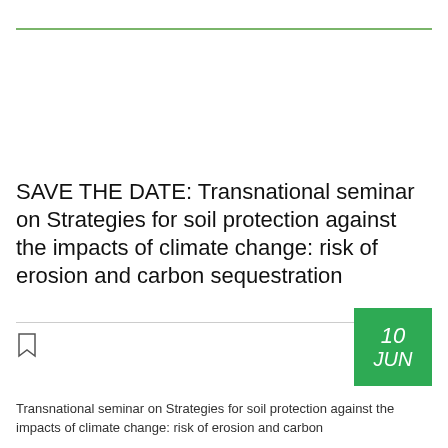SAVE THE DATE: Transnational seminar on Strategies for soil protection against the impacts of climate change: risk of erosion and carbon sequestration
Transnational seminar on Strategies for soil protection against the impacts of climate change: risk of erosion and carbon